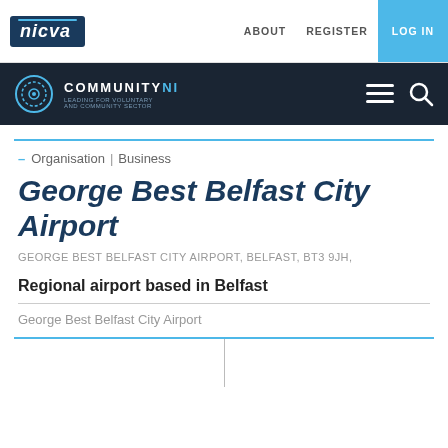nicva | ABOUT  REGISTER  LOG IN
COMMUNITYNI
– Organisation | Business
George Best Belfast City Airport
GEORGE BEST BELFAST CITY AIRPORT, BELFAST, BT3 9JH,
Regional airport based in Belfast
George Best Belfast City Airport